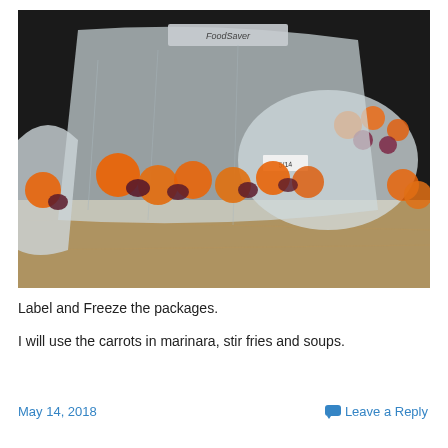[Figure (photo): Vacuum-sealed plastic bags containing orange frozen carrots and dark-colored vegetables on a kitchen counter. A FoodSaver bag sealer is visible at the top. Multiple sealed bags are stacked together.]
Label and Freeze the packages.
I will use the carrots in marinara, stir fries and soups.
May 14, 2018   Leave a Reply